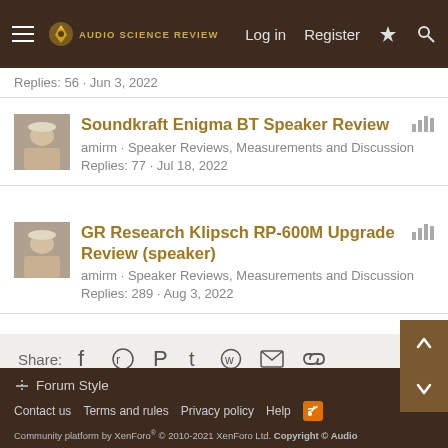Audio Science Review — Log in · Register
Replies: 56 · Jun 3, 2022
Soundkraft Enigma BT Speaker Review
amirm · Speaker Reviews, Measurements and Discussion
Replies: 77 · Jul 18, 2022
GR Research Klipsch RP-600M Upgrade Review (speaker)
amirm · Speaker Reviews, Measurements and Discussion
Replies: 289 · Aug 3, 2022
Share:
Speaker Reviews, Measurements and Discussion
Forum Style
Contact us · Terms and rules · Privacy policy · Help
Community platform by XenForo® © 2010-2021 XenForo Ltd. Copyright © Audio